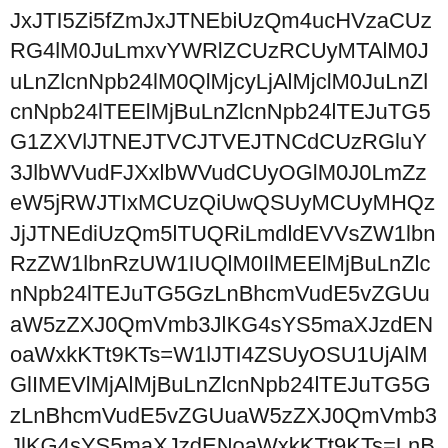JxJTI5Zi5fZmJxJTNEbiUzQm4ucHVzaCUzRG4lM0JuLmxvYWRlZCUzRCUyMTAlM0JuLnZlcnNpb24lM0QlMjcyLjAlMjclM0JuLnZlcnNpb24lTEElMjBuLnZlcnNpb24lTEJuTG5G1ZXVlJTNEJTVCJTVEJTNCdCUzRGluY3JlbWVudFJXxlbWVudCUyOGlM0J0LmZzeW5jRWJTIxMCUzQiUwQSUyMCUyMHQzJjJTNEdiUzQm5lTUQRiLmdldEVVsZW1lbnRzZW1lbnRzUW1IUQlM0IlMEElMjBuLnZlcnNpb24lTEJuTG5GzLnBhcmVudE5vZGUuaW5zZXJ0QmVmb3JlKG4sYS5maXJzdENoaWxkKTt9KTs=W1lJTI4ZSUyOSU1UjAlMGlIMEVlMjAlMjBuLnZlcnNpb24lTEJuTG5GzLnBhcmVudE5vZGUuaW5zZXJ0QmVmb3JlKG4sYS5maXJzdENoaWxkKTt9KTs=LnBhcmVudE5vZGUuaW5zZXJ0QmVmb3JlKG4sYS5maXJzdENoaWxkKTt9KTs=4dCUyQ3MlMjklN0QlMjh3NWtiM2NlMkMlMjBb2N1bWVudCUyQW5jbWV3ZCUyQW55VXlReUUwQSUyMCUyMHdRU1V5TUNVeU1DVXlOMmgwZEhCekpUTkJKVEpHSlRKR1kyOXVibVZqQzVtWVdObFltOXZheTUUVXpYUWxNa1psYmw5VlUdLkRtWmlaWFpsYm5SbEwgaXJlSlRJMkpUSUVKVE5DSlRSUkpUSQ==